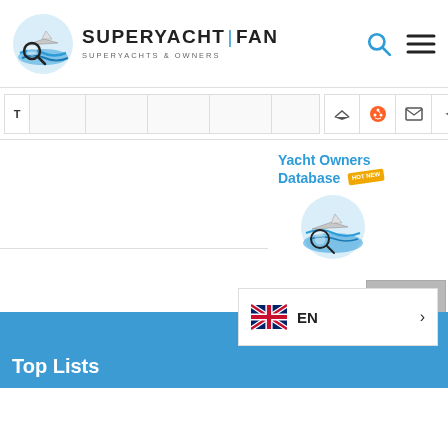[Figure (logo): SuperYachtFan logo with magnifying glass over yacht on water, circular blue icon]
SUPERYACHT | FAN
SUPERYACHTS & OWNERS
[Figure (infographic): Navigation bar with menu items and social media icons (Reddit, email, Yelp, Instagram, YouTube)]
Yacht Owners Database
[Figure (logo): SuperYachtFan magnifying glass logo icon repeated for Yacht Owners Database promo]
[Figure (infographic): Scroll to top button with upward caret]
[Figure (infographic): Language selector showing UK flag and EN with arrow]
Top Lists